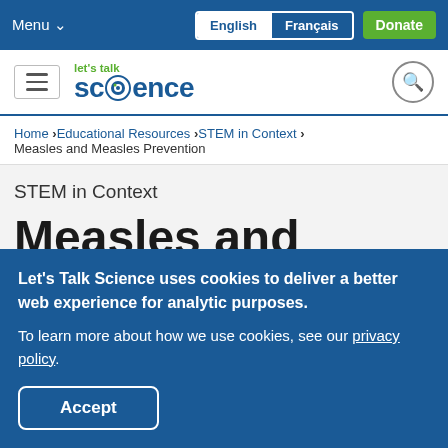Menu ∨   English   Français   Donate
[Figure (logo): Let's Talk Science logo with hamburger menu and search icon]
Home > Educational Resources > STEM in Context > Measles and Measles Prevention
STEM in Context
Measles and
Let's Talk Science uses cookies to deliver a better web experience for analytic purposes. To learn more about how we use cookies, see our privacy policy.
Accept